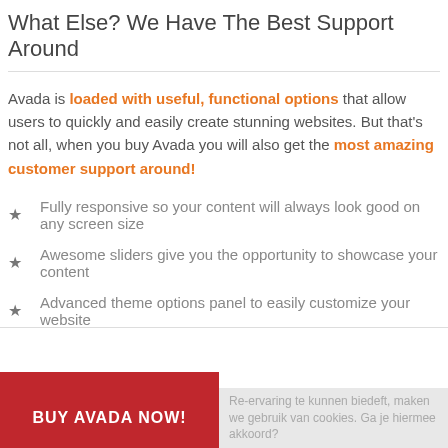What Else? We Have The Best Support Around
Avada is loaded with useful, functional options that allow users to quickly and easily create stunning websites. But that's not all, when you buy Avada you will also get the most amazing customer support around!
Fully responsive so your content will always look good on any screen size
Awesome sliders give you the opportunity to showcase your content
Advanced theme options panel to easily customize your website
BUY AVADA NOW!  Re-ervaring te kunnen biedeft, maken we gebruik van cookies. Ga je hiermee akkoord?